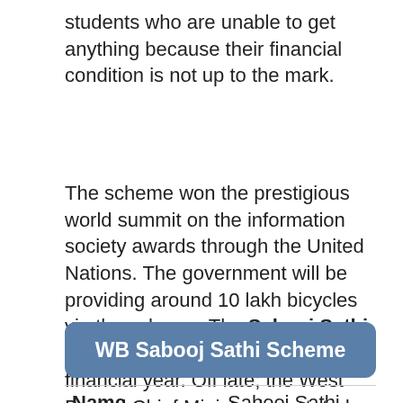students who are unable to get anything because their financial condition is not up to the mark.
The scheme won the prestigious world summit on the information society awards through the United Nations. The government will be providing around 10 lakh bicycles via the scheme. The Sabooj Sathi scheme is going to start under this financial year. Off late; the West Bengal Chief Minister has stated that the amount of cycle distribution will be doubled in this financial year
WB Sabooj Sathi Scheme
| Name |  |
| --- | --- |
| Name | Sabooj Sathi Scheme |